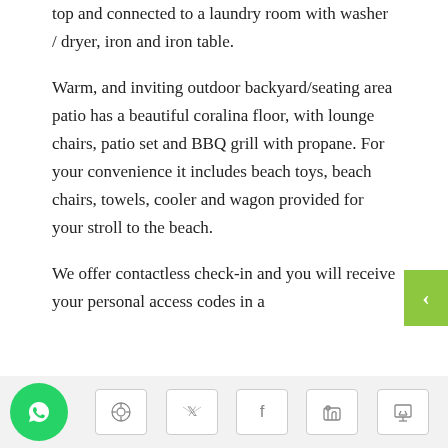top and connected to a laundry room with washer / dryer, iron and iron table.
Warm, and inviting outdoor backyard/seating area patio has a beautiful coralina floor, with lounge chairs, patio set and BBQ grill with propane. For your convenience it includes beach toys, beach chairs, towels, cooler and wagon provided for your stroll to the beach.
We offer contactless check-in and you will receive your personal access codes in a